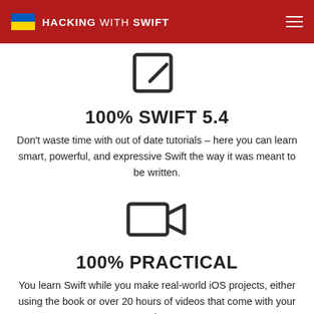HACKING WITH SWIFT
[Figure (illustration): Edit/pencil icon — a square with a pencil overlay, outline style]
100% SWIFT 5.4
Don't waste time with out of date tutorials – here you can learn smart, powerful, and expressive Swift the way it was meant to be written.
[Figure (illustration): Video camera icon — a rectangle with a triangular lens shape on the right, outline style]
100% PRACTICAL
You learn Swift while you make real-world iOS projects, either using the book or over 20 hours of videos that come with your purchase.